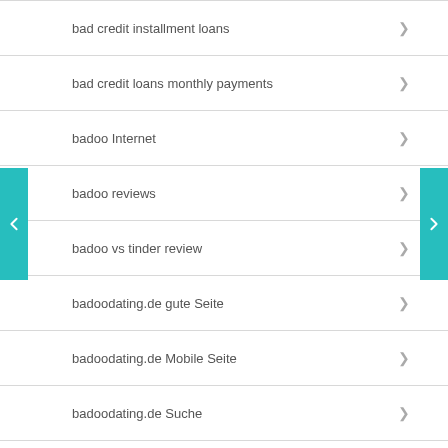bad credit installment loans
bad credit loans monthly payments
badoo Internet
badoo reviews
badoo vs tinder review
badoodating.de gute Seite
badoodating.de Mobile Seite
badoodating.de Suche
Bahis
Bahis siteleri
bahis sitesi